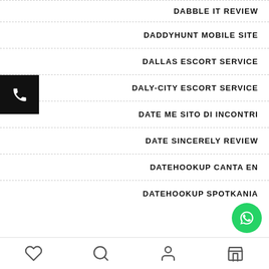DABBLE IT REVIEW
DADDYHUNT MOBILE SITE
DALLAS ESCORT SERVICE
DALY-CITY ESCORT SERVICE
DATE ME SITO DI INCONTRI
DATE SINCERELY REVIEW
DATEHOOKUP CANTA EN
DATEHOOKUP SPOTKANIA